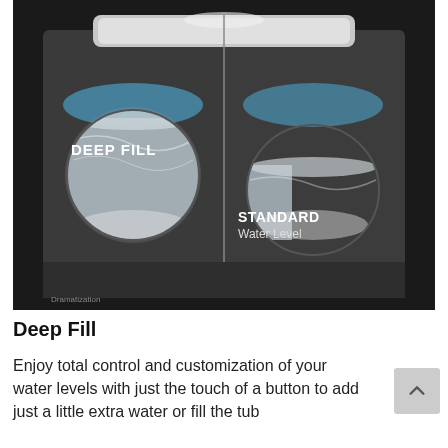[Figure (photo): Split comparison image of a top-load washing machine showing two water levels side by side. Left side labeled 'DEEP FILL' with a pink/blue divider line showing a higher water level. Right side labeled 'STANDARD Water Level' with the same divider showing a lower water level. The machine is dark gray/graphite, with a visible drum containing water. Text 'Dramatization' appears in the lower left corner.]
Deep Fill
Enjoy total control and customization of your water levels with just the touch of a button to add just a little extra water or fill the tub